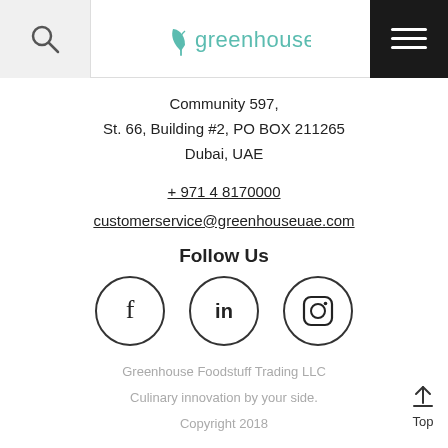greenhouse (logo) — navigation header with search and menu
Community 597,
St. 66, Building #2, PO BOX 211265
Dubai, UAE
+ 971 4 8170000
customerservice@greenhouseuae.com
Follow Us
[Figure (illustration): Three circular social media icons: Facebook (f), LinkedIn (in), Instagram (camera icon)]
Greenhouse Foodstuff Trading LLC
Culinary innovation by your side.
Copyright 2018